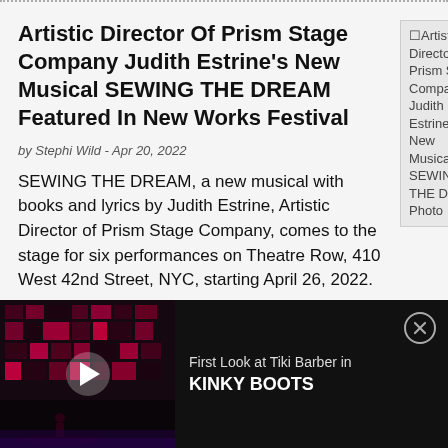Artistic Director Of Prism Stage Company Judith Estrine's New Musical SEWING THE DREAM Featured In New Works Festival
[Figure (photo): Broken image placeholder showing alt text: Artistic Director Of Prism Stage Company Judith Estrine's New Musical SEWING THE DREA Photo]
by Stephi Wild - Apr 20, 2022
SEWING THE DREAM, a new musical with books and lyrics by Judith Estrine, Artistic Director of Prism Stage Company, comes to the stage for six performances on Theatre Row, 410 West 42nd Street, NYC, starting April 26, 2022.
[Figure (screenshot): Video advertisement bar at bottom with dark background showing a stage scene with red lighting, play button overlay, and text 'First Look at Tiki Barber in KINKY BOOTS'. Close button in top-right corner.]